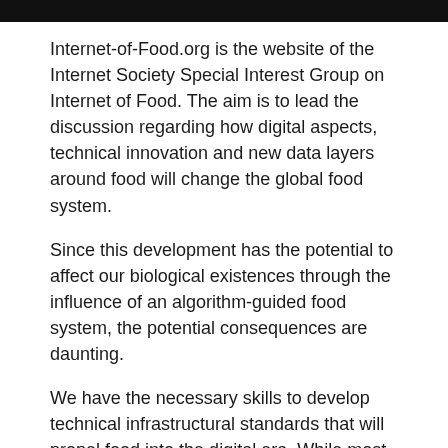[Figure (other): Black header bar]
Internet-of-Food.org is the website of the Internet Society Special Interest Group on Internet of Food. The aim is to lead the discussion regarding how digital aspects, technical innovation and new data layers around food will change the global food system.
Since this development has the potential to affect our biological existences through the influence of an algorithm-guided food system, the potential consequences are daunting.
We have the necessary skills to develop technical infrastructural standards that will propel food into the digital era. While most other sectors have global digital standards in place that facilitate innovation and information sharing, food is still a blank spot on the digital map.
This means that we don't only need to develop technical standards, we first need to develop a thorough understanding